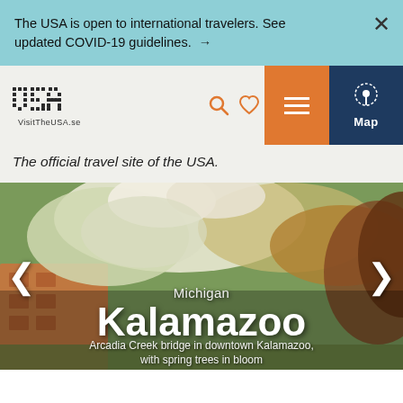The USA is open to international travelers. See updated COVID-19 guidelines. →
[Figure (screenshot): Navigation bar with dotted USA logo, VisitTheUSA.se text, search and heart icons, orange hamburger menu button, dark blue Map button with pin icon]
The official travel site of the USA.
[Figure (photo): Outdoor photo showing spring cherry blossom trees in bloom with a brick building visible in background. Text overlaid: Michigan, Kalamazoo, Arcadia Creek bridge in downtown Kalamazoo, with spring trees in bloom]
Michigan
Kalamazoo
Arcadia Creek bridge in downtown Kalamazoo, with spring trees in bloom